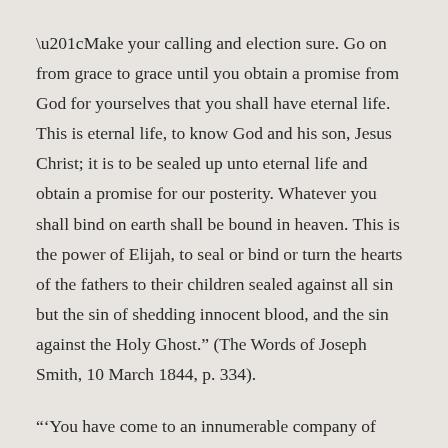“Make your calling and election sure. Go on from grace to grace until you obtain a promise from God for yourselves that you shall have eternal life. This is eternal life, to know God and his son, Jesus Christ; it is to be sealed up unto eternal life and obtain a promise for our posterity. Whatever you shall bind on earth shall be bound in heaven. This is the power of Elijah, to seal or bind or turn the hearts of the fathers to their children sealed against all sin but the sin of shedding innocent blood, and the sin against the Holy Ghost.” (The Words of Joseph Smith, 10 March 1844, p. 334).
“‘You have come to an innumerable company of angels, to the general assembly and Church of the Firstborn.’ And for what were they brought thus far? I answer that they came to these person ages to learn of the things